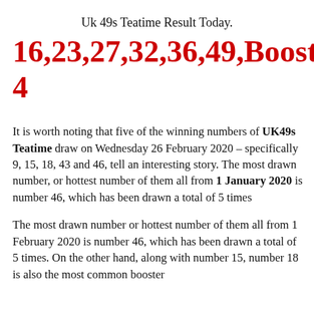Uk 49s Teatime Result Today.
16,23,27,32,36,49,Booster: 4
It is worth noting that five of the winning numbers of UK49s Teatime draw on Wednesday 26 February 2020 – specifically 9, 15, 18, 43 and 46, tell an interesting story. The most drawn number, or hottest number of them all from 1 January 2020 is number 46, which has been drawn a total of 5 times
The most drawn number or hottest number of them all from 1 February 2020 is number 46, which has been drawn a total of 5 times. On the other hand, along with number 15, number 18 is also the most common booster